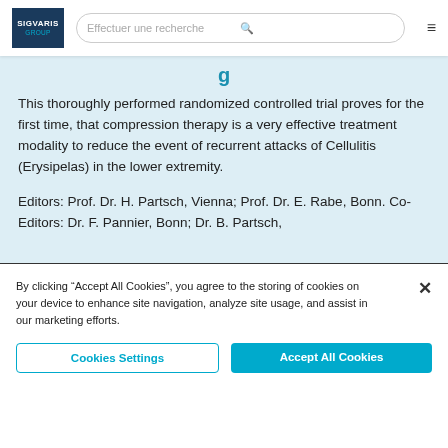SIGVARIS GROUP | Effectuer une recherche
This thoroughly performed randomized controlled trial proves for the first time, that compression therapy is a very effective treatment modality to reduce the event of recurrent attacks of Cellulitis (Erysipelas) in the lower extremity.
Editors: Prof. Dr. H. Partsch, Vienna; Prof. Dr. E. Rabe, Bonn. Co-Editors: Dr. F. Pannier, Bonn; Dr. B. Partsch,
By clicking “Accept All Cookies”, you agree to the storing of cookies on your device to enhance site navigation, analyze site usage, and assist in our marketing efforts.